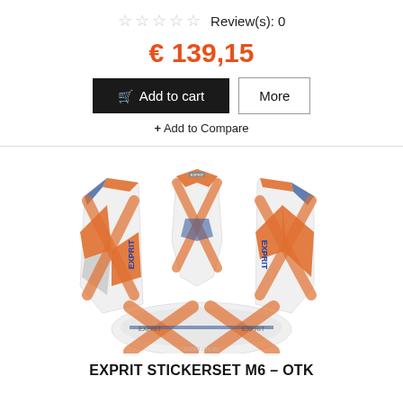☆☆☆☆☆ Review(s): 0
€ 139,15
Add to cart
More
+ Add to Compare
[Figure (photo): Exprit M6 OTK kart sticker set layout showing side pods, front fairing, and spoiler with orange, blue, and white design with EXPRIT branding]
EXPRIT STICKERSET M6 – OTK